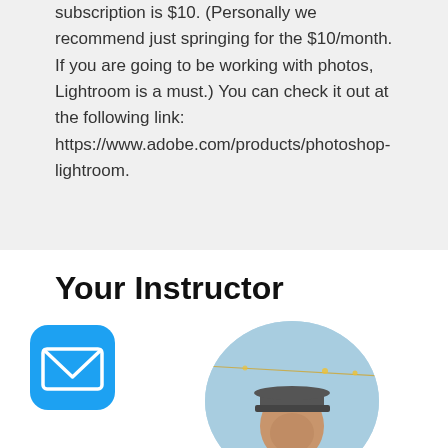subscription is $10. (Personally we recommend just springing for the $10/month. If you are going to be working with photos, Lightroom is a must.) You can check it out at the following link: https://www.adobe.com/products/photoshop-lightroom.
Your Instructor
[Figure (illustration): Blue rounded square mail/email icon with white envelope symbol]
[Figure (photo): Circular profile photo of instructor wearing a cap, with a blue sky background and string lights]